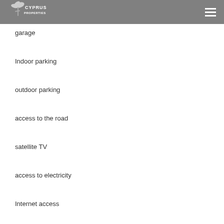Cyprus Properties
garage
Indoor parking
outdoor parking
access to the road
satellite TV
access to electricity
Internet access
telephone line